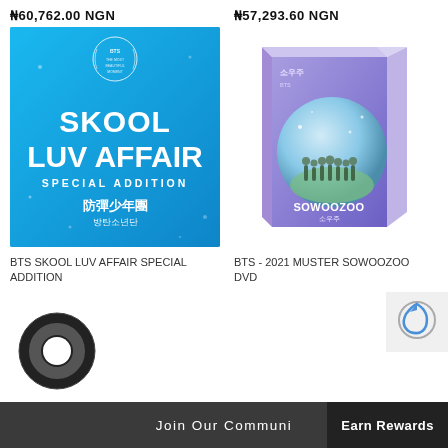₦60,762.00 NGN
₦57,293.60 NGN
[Figure (photo): BTS Skool Luv Affair Special Addition album cover - blue background with white text reading SKOOL LUV AFFAIR SPECIAL ADDITION and Korean characters 防彈少年團 / 방탄소년단]
[Figure (photo): BTS 2021 Muster Sowoozoo DVD box set - purple/blue gradient box with circular design showing BTS members and SOWOOZOO text]
BTS SKOOL LUV AFFAIR SPECIAL ADDITION
BTS - 2021 MUSTER SOWOOZOO DVD
₦26,525.00 NGN
₦37,878.00 NGN
[Figure (logo): Circular logo icon - dark ring shape on white background, partially visible at bottom left]
[Figure (other): reCAPTCHA widget partially visible at bottom right]
Join Our Communi   Earn Rewards